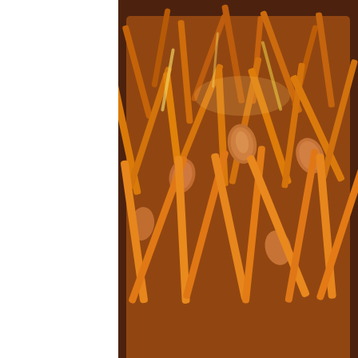[Figure (photo): A bowl filled with spiced/seasoned snack mix including pretzel sticks and almonds coated in a spicy-sweet seasoning, photographed close-up from above on a light blue surface.]
I hope everyone had the most delightful of holidays and let's all ring in the cheer. Hello, 2007! Now before we all batten down the hatches with resol the festive snacks just a bit longer. I came by this recipe from David Lebo and I can truly say that this is the best holiday snack ever. Sweet and salt that is easy to make and will make your guests love you even more. I m